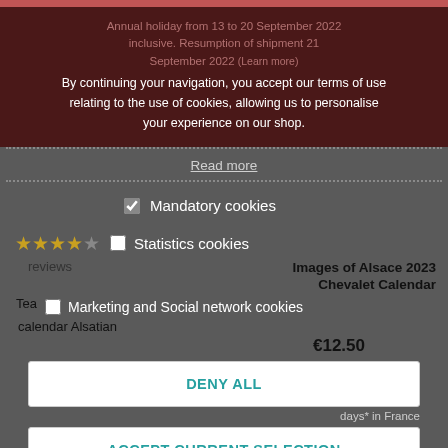Annual holiday from 13 to 20 September 2022 inclusive. Resumption of shipment 21 September 2022 (Learn more)
By continuing your navigation, you accept our terms of use relating to the use of cookies, allowing us to personalise your experience on our shop.
Read more
Mandatory cookies
Statistics cookies
reviews
Images of Alsace 2023 Chevalet Calendar
Tea  Marketing and Social network cookies
calendar Alsatian
€12.50
days* in France
DENY ALL
ACCEPT CURRENT SELECTION